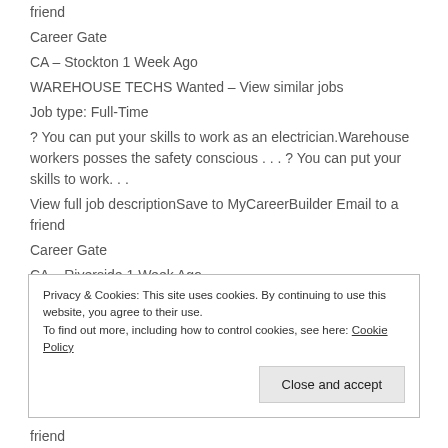friend
Career Gate
CA – Stockton 1 Week Ago
WAREHOUSE TECHS Wanted – View similar jobs
Job type: Full-Time
? You can put your skills to work as an electrician.Warehouse workers posses the safety conscious . . . ? You can put your skills to work. . .
View full job descriptionSave to MyCareerBuilder Email to a friend
Career Gate
CA – Riverside 1 Week Ago
WAREHOUSE TECHS Wanted – View similar jobs
Privacy & Cookies: This site uses cookies. By continuing to use this website, you agree to their use.
To find out more, including how to control cookies, see here: Cookie Policy
friend